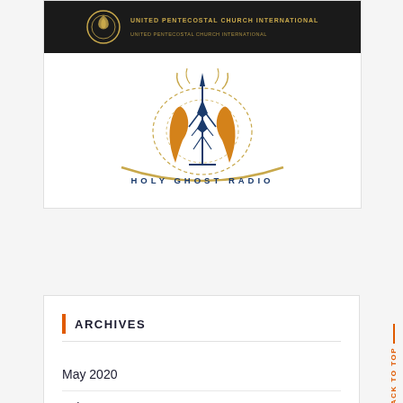[Figure (logo): United Pentecostal Church International logo on dark background banner]
[Figure (logo): Holy Ghost Radio logo with radio tower and flame motif, text 'HOLY GHOST RADIO' below]
ARCHIVES
May 2020
February 2019
December 2018